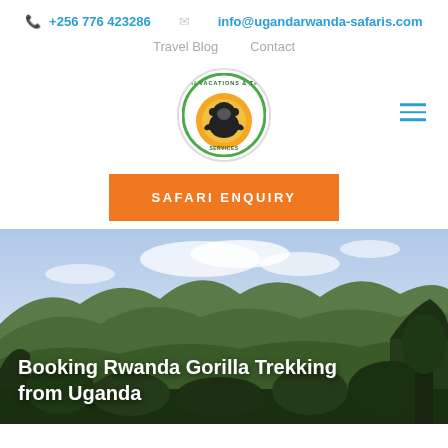📞 +256 776 423286   ✉ info@ugandarwanda-safaris.com
Travel Blog   Contact
[Figure (logo): Safari Vacations & Travel Services circular logo with a gorilla silhouette on an orange/yellow background with green border text]
SAFARI ENQUIRY
[Figure (photo): Panoramic landscape photo of forested mountains in Rwanda/Uganda under a partly cloudy sky, lush green trees in foreground]
Booking Rwanda Gorilla Trekking from Uganda